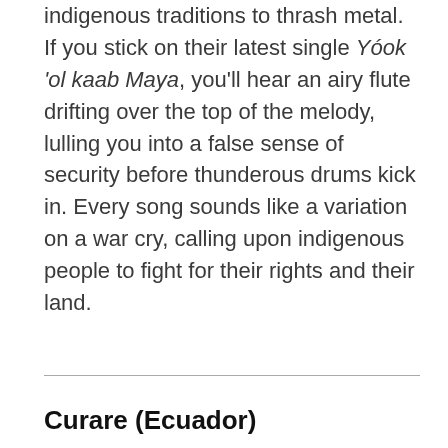indigenous traditions to thrash metal. If you stick on their latest single Yóok 'ol kaab Maya, you'll hear an airy flute drifting over the top of the melody, lulling you into a false sense of security before thunderous drums kick in. Every song sounds like a variation on a war cry, calling upon indigenous people to fight for their rights and their land.
Curare (Ecuador)